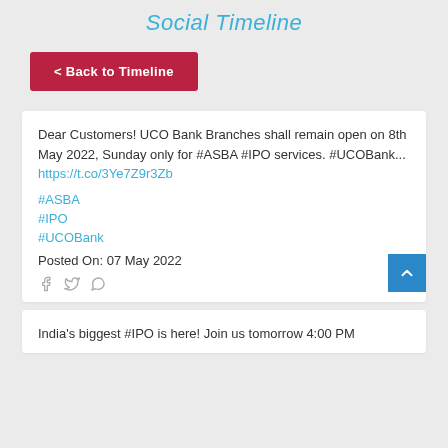Social Timeline
< Back to Timeline
Dear Customers! UCO Bank Branches shall remain open on 8th May 2022, Sunday only for #ASBA #IPO services. #UCOBank...
https://t.co/3Ye7Z9r3Zb

#ASBA

#IPO

#UCOBank

Posted On: 07 May 2022
India's biggest #IPO is here! Join us tomorrow 4:00 PM